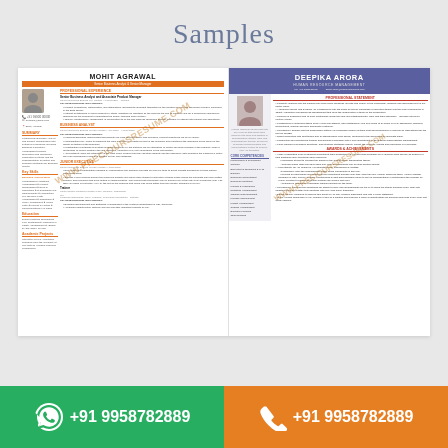Samples
[Figure (illustration): Two resume sample previews side by side: left is Mohit Agrawal resume (Senior Business Analyst & Senior Manager), right is Deepika Arora resume (Human Resource Management). Both have watermarks.]
+91 9958782889
+91 9958782889